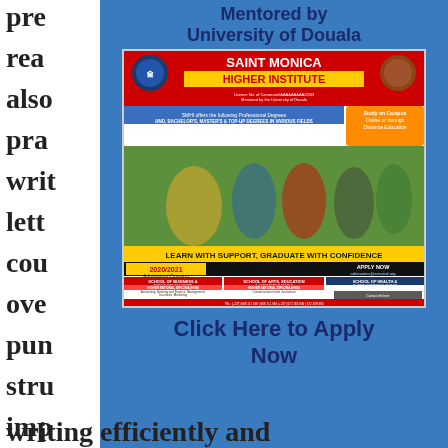pre
rea
also
pra
writ
lett
cou
ove
pun
stru
imp
Mentored by University of Douala
[Figure (photo): Saint Monica Higher Institute promotional flyer showing students and program offerings, 2020/2021 Admissions Ongoing]
Click Here to Apply Now
writing efficiently and